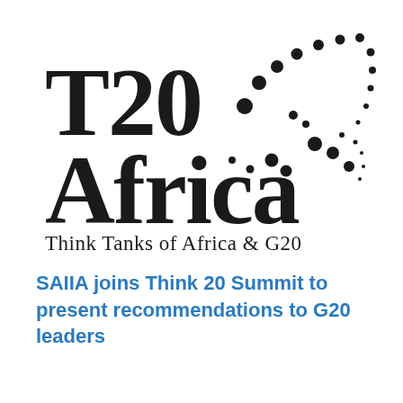[Figure (logo): T20 Africa logo with dotted arc pattern and text 'Think Tanks of Africa & G20']
SAIIA joins Think 20 Summit to present recommendations to G20 leaders